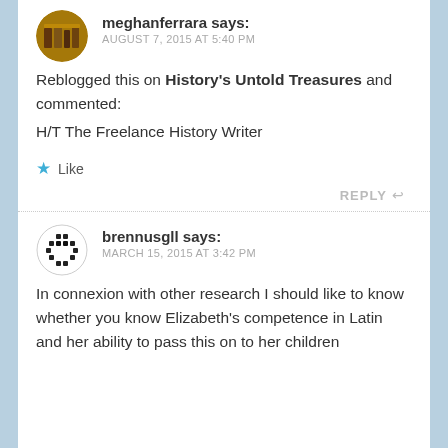meghanferrara says: AUGUST 7, 2015 AT 5:40 PM
Reblogged this on History's Untold Treasures and commented: H/T The Freelance History Writer
Like
REPLY
brennusgll says: MARCH 15, 2015 AT 3:42 PM
In connexion with other research I should like to know whether you know Elizabeth's competence in Latin and her ability to pass this on to her children